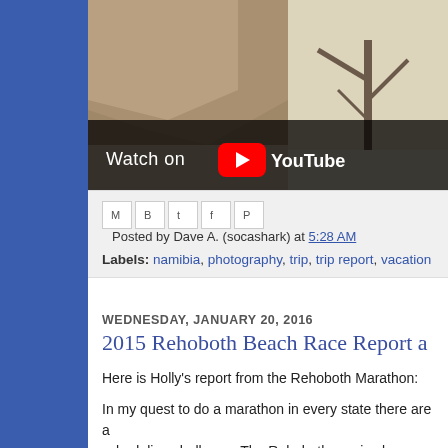[Figure (screenshot): YouTube video thumbnail showing a desert landscape with rocky formations and dead trees. Shows 'Watch on YouTube' overlay with YouTube logo button.]
Posted by Dave A. (socashark) at 5:28 AM
Labels: namibia, photography, trip, trip report, vacation
WEDNESDAY, JANUARY 20, 2016
2015 Rehoboth Beach Race Report a
Here is Holly's report from the Rehoboth Marathon:
In my quest to do a marathon in every state there are a scheduling challenge. The Rehoboth one is always ea our usual Thanksgiving vacation. This year was even v